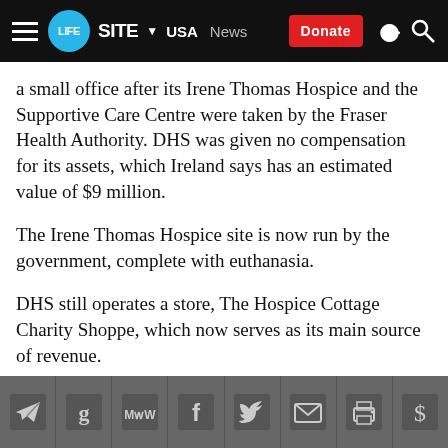LifeSite News — USA | News | Donate
a small office after its Irene Thomas Hospice and the Supportive Care Centre were taken by the Fraser Health Authority. DHS was given no compensation for its assets, which Ireland says has an estimated value of $9 million.
The Irene Thomas Hospice site is now run by the government, complete with euthanasia.
DHS still operates a store, The Hospice Cottage Charity Shoppe, which now serves as its main source of revenue.
SUBSCRIBE TO OUR DAILY HEADLINES — social share buttons: Telegram, Google, MeWe, Facebook, Twitter, Email, Print, Donate